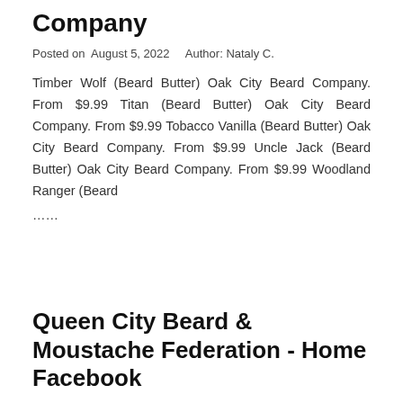Company
Posted on  August 5, 2022    Author: Nataly C.
Timber Wolf (Beard Butter) Oak City Beard Company. From $9.99 Titan (Beard Butter) Oak City Beard Company. From $9.99 Tobacco Vanilla (Beard Butter) Oak City Beard Company. From $9.99 Uncle Jack (Beard Butter) Oak City Beard Company. From $9.99 Woodland Ranger (Beard
......
Queen City Beard & Moustache Federation - Home Facebook